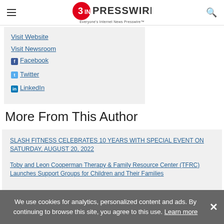EINPresswire - Everyone's Internet News Presswire
Visit Website
Visit Newsroom
Facebook
Twitter
LinkedIn
More From This Author
SLASH FITNESS CELEBRATES 10 YEARS WITH SPECIAL EVENT ON SATURDAY, AUGUST 20, 2022
Toby and Leon Cooperman Therapy & Family Resource Center (TFRC) Launches Support Groups for Children and Their Families
We use cookies for analytics, personalized content and ads. By continuing to browse this site, you agree to this use. Learn more